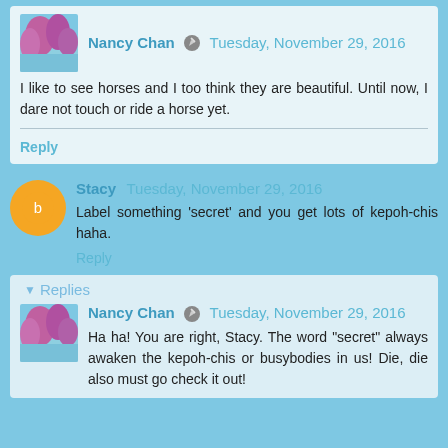Nancy Chan  Tuesday, November 29, 2016
I like to see horses and I too think they are beautiful. Until now, I dare not touch or ride a horse yet.
Reply
Stacy  Tuesday, November 29, 2016
Label something 'secret' and you get lots of kepoh-chis haha.
Reply
Replies
Nancy Chan  Tuesday, November 29, 2016
Ha ha! You are right, Stacy. The word "secret" always awaken the kepoh-chis or busybodies in us! Die, die also must go check it out!